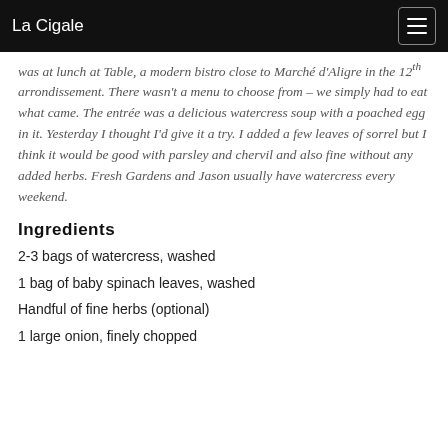La Cigale
was at lunch at Table, a modern bistro close to Marché d'Aligre in the 12th arrondissement. There wasn't a menu to choose from – we simply had to eat what came. The entrée was a delicious watercress soup with a poached egg in it. Yesterday I thought I'd give it a try. I added a few leaves of sorrel but I think it would be good with parsley and chervil and also fine without any added herbs. Fresh Gardens and Jason usually have watercress every weekend.
Ingredients
2-3 bags of watercress, washed
1 bag of baby spinach leaves, washed
Handful of fine herbs (optional)
1 large onion, finely chopped